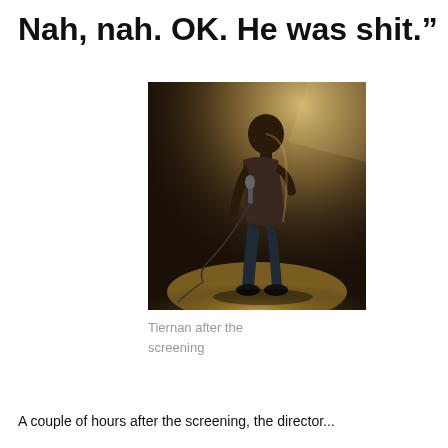Nah, nah. OK. He was shit.”
[Figure (photo): A performer standing on stage holding a microphone, backlit with a spotlight, wearing a dark t-shirt and jeans, with a microphone cord on the floor.]
Tiernan after the screening
A couple of hours after the screening, the director...